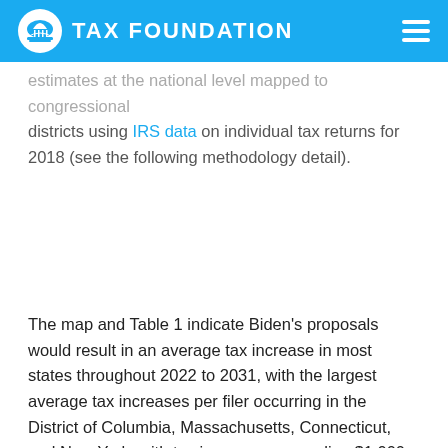TAX FOUNDATION
estimates at the national level mapped to congressional districts using IRS data on individual tax returns for 2018 (see the following methodology detail).
The map and Table 1 indicate Biden’s proposals would result in an average tax increase in most states throughout 2022 to 2031, with the largest average tax increases per filer occurring in the District of Columbia, Massachusetts, Connecticut, and New York, with tax increases exceeding $1,000 per filer in 2022 and $2,000 per filer in 2031.